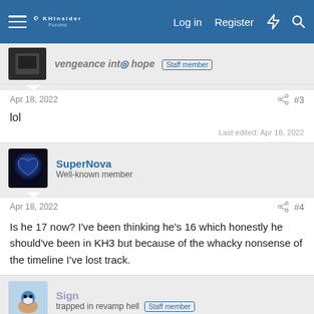KHInsider forum navigation bar with Log in, Register links
vengeance into hope  Staff member
Apr 18, 2022  #3
lol
Last edited: Apr 18, 2022
SuperNova  Well-known member
Apr 18, 2022  #4
Is he 17 now? I've been thinking he's 16 which honestly he should've been in KH3 but because of the whacky nonsense of the timeline I've lost track.
Sign  trapped in revamp hell  Staff member